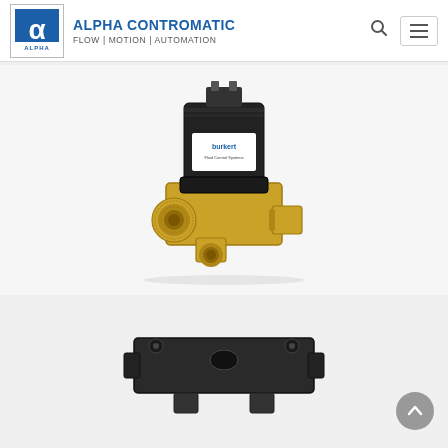ALPHA CONTROMATIC | FLOW | MOTION | AUTOMATION
[Figure (photo): Burkert solenoid valve with black plastic solenoid actuator on top and brass body with threaded ports, shown on white background]
[Figure (photo): Partial view of another industrial valve or actuator component in black, shown on white background at bottom of page]